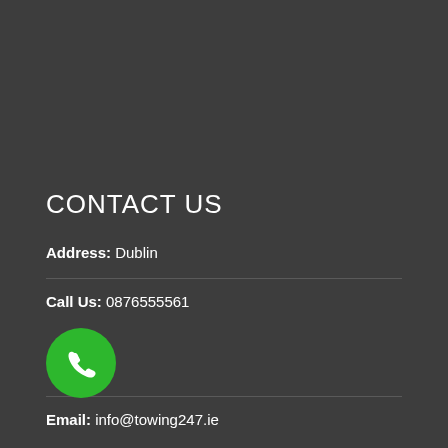CONTACT US
Address: Dublin
Call Us: 0876555561
Email: info@towing247.ie